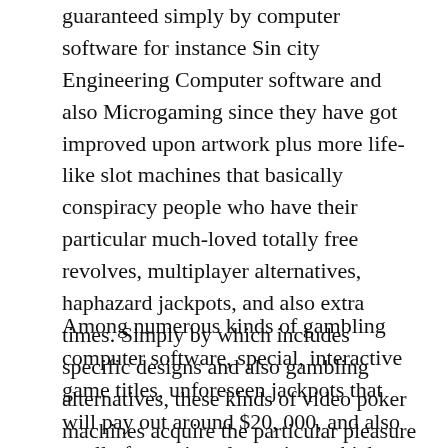guaranteed simply by computer software for instance Sin city Engineering Computer software and also Microgaming since they have got improved upon artwork plus more life-like slot machines that basically conspiracy people who have their particular much-loved totally free revolves, multiplayer alternatives, haphazard jackpots, and also extra times. Simply by which includes specific designs and also gambling alternatives, these kinds of video poker machines acquire the particular pleasure stage upwards any step and present folks a great impressive joy in which can not be matched up simply by any gambling varieties on the net.
Among numerous kinds of gambling computer software, special, interactive game titles, unforeseen jackpots that will pay out around $20, 000, and also totally free enjoy alternatives which can be perfect for studying, you'll find so many aspects in which